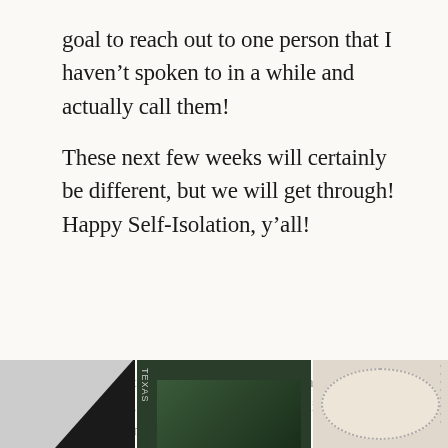goal to reach out to one person that I haven't spoken to in a while and actually call them!

These next few weeks will certainly be different, but we will get through!  Happy Self-Isolation, y'all!
Tagged austin, coronavirus, covid19, craft, crafty, embroidery, self isolation, social distancing, stitch art, texas, time management
Leave a comment
[Figure (photo): Three partial images side by side at the bottom of the page: left shows a dark triangular shape on a light background, middle shows green embroidery or craft work with a 'Texas' label on the side, right shows a circular embroidery hoop with dotted border on a light background.]